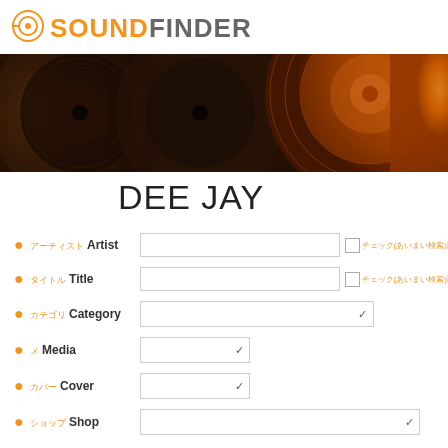SOUNDFINDER
[Figure (photo): Close-up photo of vinyl records in brown/orange tones, with an orange record visible on the right side]
DEE JAY
アーティスト Artist — text input — Partial match search
タイトル Title — text input — Partial match search
カテゴリ Category — dropdown select
メ Media — dropdown select
カバー Cover — dropdown select
ショップ Shop — dropdown select